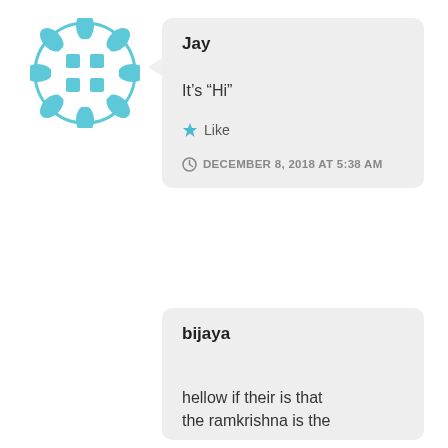[Figure (illustration): Teal/cyan circular avatar icon with a grid/window pattern and leaf-like border decorations]
Jay
It’s “Hi”
★ Like
DECEMBER 8, 2018 AT 5:38 AM
bijaya
hellow if their is that the ramkrishna is the